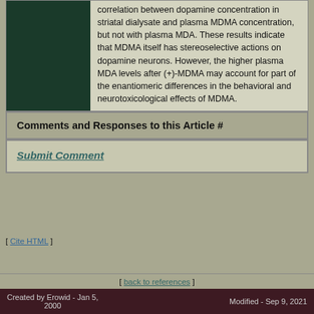correlation between dopamine concentration in striatal dialysate and plasma MDMA concentration, but not with plasma MDA. These results indicate that MDMA itself has stereoselective actions on dopamine neurons. However, the higher plasma MDA levels after (+)-MDMA may account for part of the enantiomeric differences in the behavioral and neurotoxicological effects of MDMA.
Comments and Responses to this Article #
Submit Comment
[ Cite HTML ]
[ back to references ]
Created by Erowid - Jan 5, 2000   Modified - Sep 9, 2021